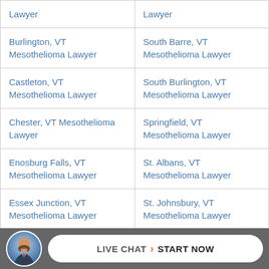| Lawyer | Lawyer |
| Burlington, VT Mesothelioma Lawyer | South Barre, VT Mesothelioma Lawyer |
| Castleton, VT Mesothelioma Lawyer | South Burlington, VT Mesothelioma Lawyer |
| Chester, VT Mesothelioma Lawyer | Springfield, VT Mesothelioma Lawyer |
| Enosburg Falls, VT Mesothelioma Lawyer | St. Albans, VT Mesothelioma Lawyer |
| Essex Junction, VT Mesothelioma Lawyer | St. Johnsbury, VT Mesothelioma Lawyer |
| Fair Haven, VT Mesothelioma Lawyer | Swanton, VT Mesothelioma Lawyer |
[Figure (infographic): Live chat bar with avatar photo of a man in a suit and a white pill-shaped button reading LIVE CHAT > START NOW]